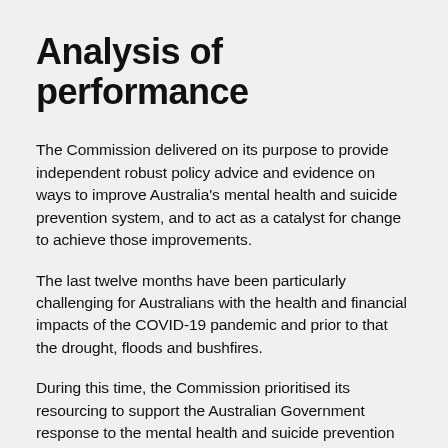Analysis of performance
The Commission delivered on its purpose to provide independent robust policy advice and evidence on ways to improve Australia's mental health and suicide prevention system, and to act as a catalyst for change to achieve those improvements.
The last twelve months have been particularly challenging for Australians with the health and financial impacts of the COVID-19 pandemic and prior to that the drought, floods and bushfires.
During this time, the Commission prioritised its resourcing to support the Australian Government response to the mental health and suicide prevention